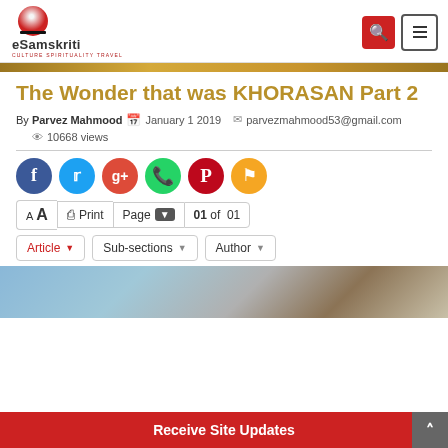eSamskriti — CULTURE SPIRITUALITY TRAVEL
The Wonder that was KHORASAN Part 2
By Parvez Mahmood  January 1 2019  parvezmahmood53@gmail.com  10668 views
[Figure (other): Social media share icons: Facebook, Twitter, Google+, WhatsApp, Pinterest, Bookmark]
A A  Print  Page  01 of 01
Article  Sub-sections  Author
[Figure (photo): Partial photo of mountain/rock landscape]
Receive Site Updates